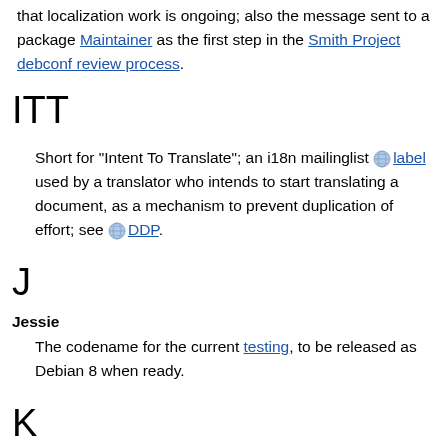that localization work is ongoing; also the message sent to a package Maintainer as the first step in the Smith Project debconf review process.
ITT
Short for "Intent To Translate"; an i18n mailinglist label used by a translator who intends to start translating a document, as a mechanism to prevent duplication of effort; see DDP.
J
Jessie
The codename for the current testing, to be released as Debian 8 when ready.
K